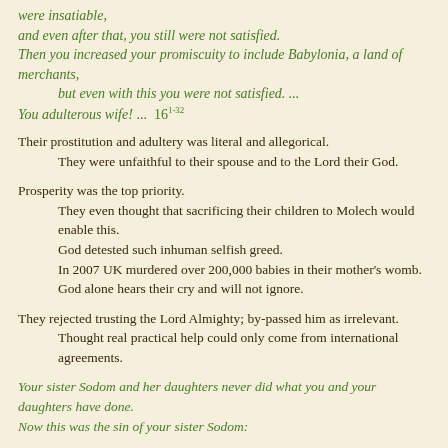were insatiable,
and even after that, you still were not satisfied.
Then you increased your promiscuity to include Babylonia, a land of merchants,
    but even with this you were not satisfied. ...
You adulterous wife! ...  161-32
Their prostitution and adultery was literal and allegorical.
    They were unfaithful to their spouse and to the Lord their God.
Prosperity was the top priority.
    They even thought that sacrificing their children to Molech would enable this.
    God detested such inhuman selfish greed.
    In 2007 UK murdered over 200,000 babies in their mother's womb.
    God alone hears their cry and will not ignore.
They rejected trusting the Lord Almighty; by-passed him as irrelevant.
    Thought real practical help could only come from international agreements.
Your sister Sodom and her daughters never did what you and your daughters have done.
Now this was the sin of your sister Sodom: